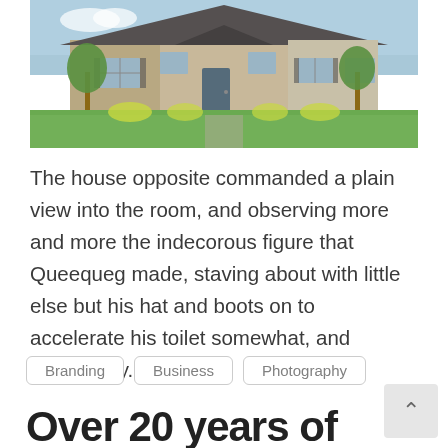[Figure (photo): Exterior photo of a single-story stone and siding house with green lawn, trees, and a covered front entry]
The house opposite commanded a plain view into the room, and observing more and more the indecorous figure that Queequeg made, staving about with little else but his hat and boots on to accelerate his toilet somewhat, and particularly.
Branding
Business
Photography
Over 20 years of